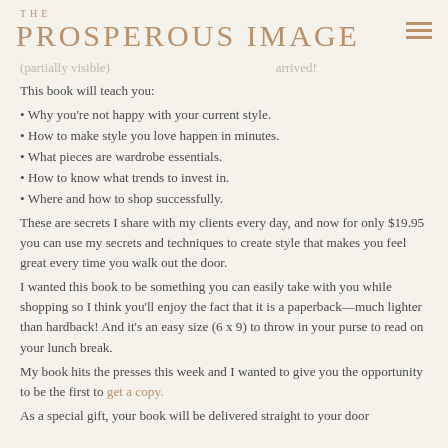THE PROSPEROUS IMAGE
(partially visible faded text) arrived!
This book will teach you:
Why you're not happy with your current style.
How to make style you love happen in minutes.
What pieces are wardrobe essentials.
How to know what trends to invest in.
Where and how to shop successfully.
These are secrets I share with my clients every day, and now for only $19.95 you can use my secrets and techniques to create style that makes you feel great every time you walk out the door.
I wanted this book to be something you can easily take with you while shopping so I think you'll enjoy the fact that it is a paperback—much lighter than hardback! And it's an easy size (6 x 9) to throw in your purse to read on your lunch break.
My book hits the presses this week and I wanted to give you the opportunity to be the first to get a copy.
As a special gift, your book will be delivered straight to your door